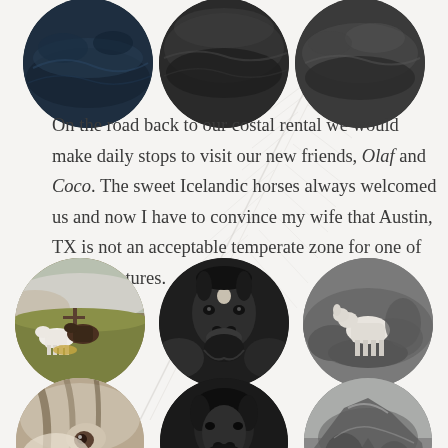[Figure (photo): Three circular cropped photos in top row: left shows dark blue water/fjord scene, center shows dark grayscale water/landscape, right shows grayscale water or coastal scene]
On the road back to our costal rental we would make daily stops to visit our new friends, Olaf and Coco. The sweet Icelandic horses always welcomed us and now I have to convince my wife that Austin, TX is not an acceptable temperate zone for one of these creatures.
[Figure (photo): Three circular cropped photos in middle row: left shows white and brown/dark Icelandic horses in a snowy/grassy field, center shows a dark Icelandic horse face close-up in black and white, right shows a white animal (sheep or goat) grazing on rocks in black and white]
[Figure (photo): Three circular cropped photos in bottom row (partially visible): left shows a white horse face close-up, center shows a dark horse face close-up, right shows a rocky landscape]